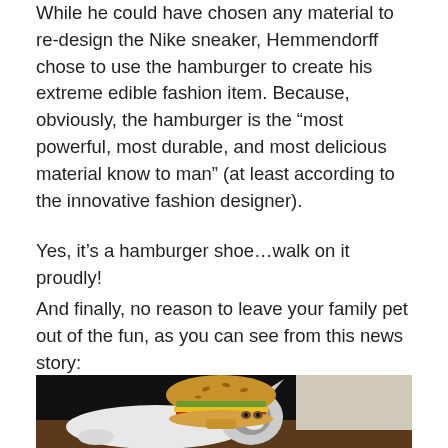While he could have chosen any material to re-design the Nike sneaker, Hemmendorff chose to use the hamburger to create his extreme edible fashion item. Because, obviously, the hamburger is the “most powerful, most durable, and most delicious material know to man” (at least according to the innovative fashion designer).
Yes, it’s a hamburger shoe…walk on it proudly!
And finally, no reason to leave your family pet out of the fun, as you can see from this news story:
[Figure (photo): A cat wearing a hamburger costume/hat on its back, lying on a wooden floor with a dark background. The cat is white and grey, and the hamburger prop shows bun, patty, cheese and green toppings.]